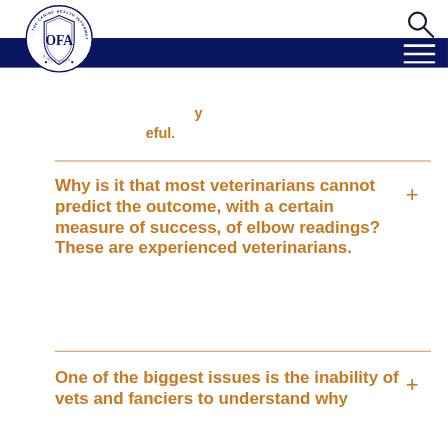[Figure (logo): OFA - The Canine Health Information Center circular logo with shield, Since 1966]
eful.
Why is it that most veterinarians cannot predict the outcome, with a certain measure of success, of elbow readings? These are experienced veterinarians.
One of the biggest issues is the inability of vets and fanciers to understand why